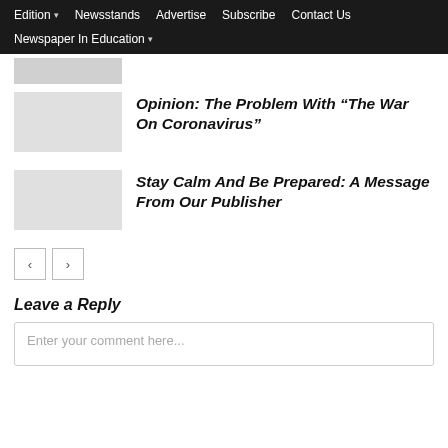Edition ▾   Newsstands   Advertise   Subscribe   Contact Us   Newspaper In Education ▾
Opinion: The Problem With “The War On Coronavirus”
Stay Calm And Be Prepared: A Message From Our Publisher
‹  ›
Leave a Reply
Enter your comment here...